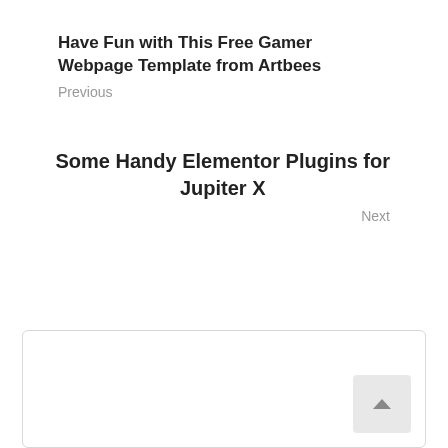Have Fun with This Free Gamer Webpage Template from Artbees
Previous
Some Handy Elementor Plugins for Jupiter X
Next